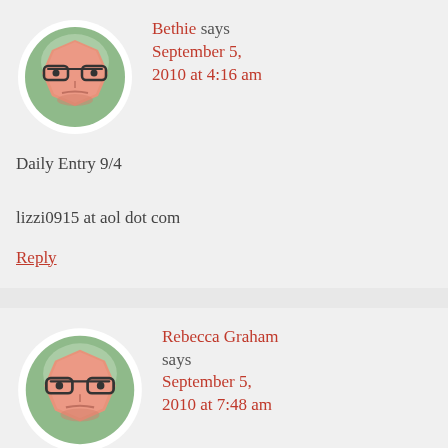[Figure (illustration): Avatar illustration: cartoon face with glasses on green circular background]
Bethie says September 5, 2010 at 4:16 am
Daily Entry 9/4

lizzi0915 at aol dot com
Reply
[Figure (illustration): Avatar illustration: cartoon face with glasses on green circular background]
Rebecca Graham says September 5, 2010 at 7:48 am